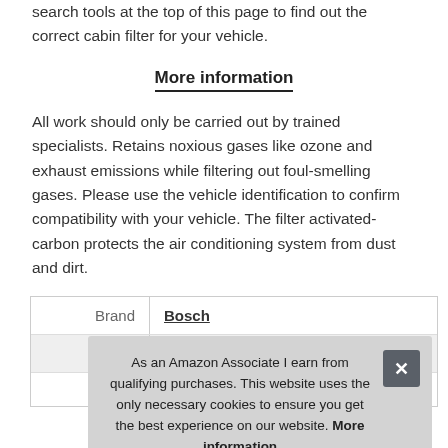search tools at the top of this page to find out the correct cabin filter for your vehicle.
More information
All work should only be carried out by trained specialists. Retains noxious gases like ozone and exhaust emissions while filtering out foul-smelling gases. Please use the vehicle identification to confirm compatibility with your vehicle. The filter activated-carbon protects the air conditioning system from dust and dirt.
|  |  |
| --- | --- |
| Brand | Bosch |
| Ma… |  |
| Weight | 0.19 |
As an Amazon Associate I earn from qualifying purchases. This website uses the only necessary cookies to ensure you get the best experience on our website. More information